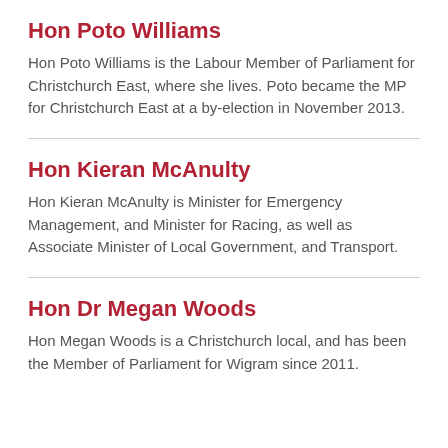Hon Poto Williams
Hon Poto Williams is the Labour Member of Parliament for Christchurch East, where she lives. Poto became the MP for Christchurch East at a by-election in November 2013.
Hon Kieran McAnulty
Hon Kieran McAnulty is Minister for Emergency Management, and Minister for Racing, as well as Associate Minister of Local Government, and Transport.
Hon Dr Megan Woods
Hon Megan Woods is a Christchurch local, and has been the Member of Parliament for Wigram since 2011.